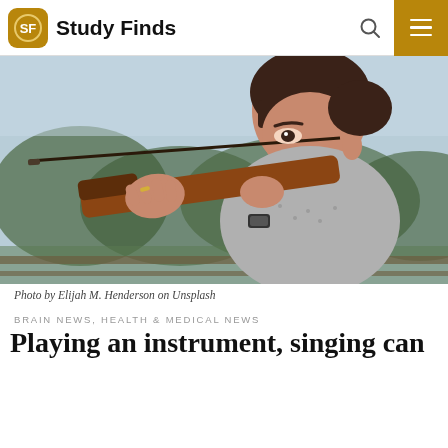Study Finds
[Figure (photo): Young woman with brown hair playing a violin outdoors, closeup shot with blurred natural background]
Photo by Elijah M. Henderson on Unsplash
BRAIN NEWS, HEALTH & MEDICAL NEWS
Playing an instrument, singing can